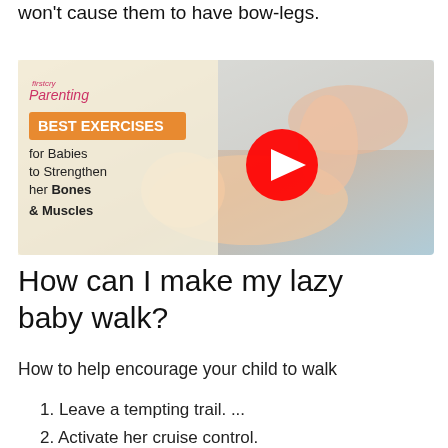won't cause them to have bow-legs.
[Figure (screenshot): Video thumbnail from 'firstcry Parenting' showing a baby lying on its back while an adult holds up its legs. Text overlay reads 'BEST EXERCISES for Babies to Strengthen her Bones & Muscles' with a YouTube play button in the center.]
How can I make my lazy baby walk?
How to help encourage your child to walk
1. Leave a tempting trail. ...
2. Activate her cruise control.